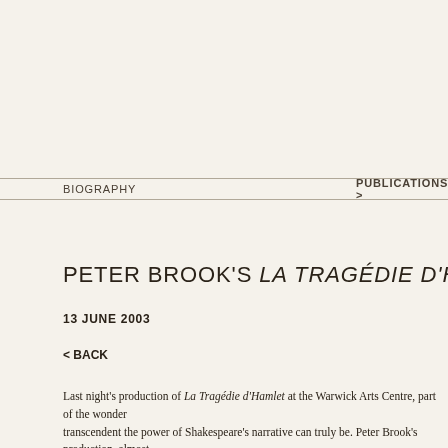BIOGRAPHY   PUBLICATIONS >   GALLERY   LINKS
PETER BROOK'S LA TRAGÉDIE D'HAMLET, WARWICK ARTS CENTRE
13 JUNE 2003
< BACK
Last night's production of La Tragédie d'Hamlet at the Warwick Arts Centre, part of the wonder transcendent the power of Shakespeare's narrative can truly be. Peter Brook's production, almost sensual, tragic delight, devoid of pretension, embracing the trials of a street- and life-wise Prince to her brother-in-law. This Hamlet feigns madness as he manoeuvres through the court of Elsinore demeanour shields an intensity of devotion and despair which leads to the inevitable tragic consequence.